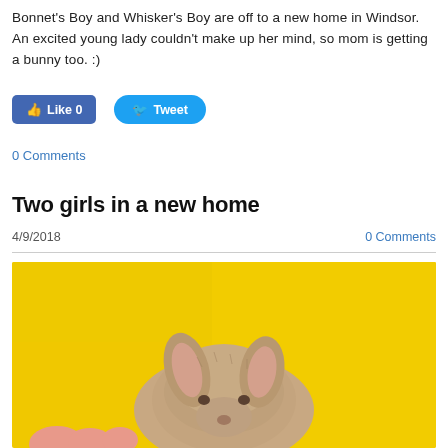Bonnet's Boy and Whisker's Boy are off to a new home in Windsor. An excited young lady couldn't make up her mind, so mom is getting a bunny too. :)
[Figure (other): Facebook Like button (blue, count 0) and Twitter Tweet button (cyan)]
0 Comments
Two girls in a new home
4/9/2018
0 Comments
[Figure (photo): A baby lop-eared rabbit with grey/tan fur being held against a bright yellow background. Only the top of the rabbit's head and ears are visible, with pink human fingers at the bottom left.]